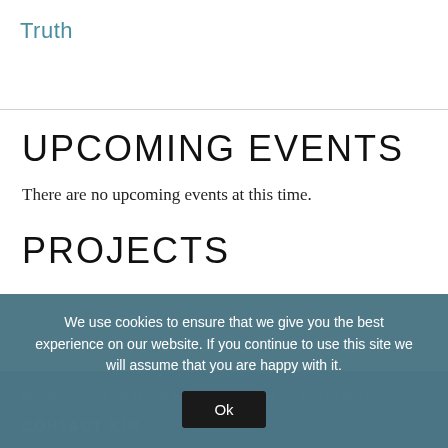Truth
UPCOMING EVENTS
There are no upcoming events at this time.
PROJECTS
Please contact me if you have a consulting project to discuss.
CONTACT KIM
We use cookies to ensure that we give you the best experience on our website. If you continue to use this site we will assume that you are happy with it.
Ok